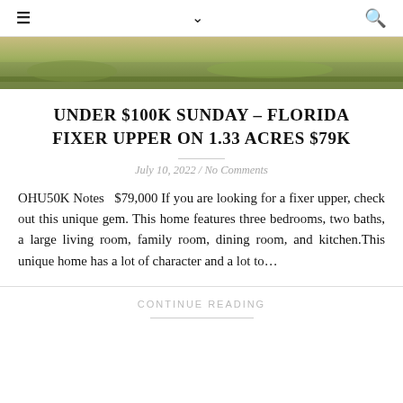≡  ∨  🔍
[Figure (photo): Outdoor photo showing grass and dirt ground, partial view of a property yard]
UNDER $100K SUNDAY – FLORIDA FIXER UPPER ON 1.33 ACRES $79K
July 10, 2022 / No Comments
OHU50K Notes   $79,000 If you are looking for a fixer upper, check out this unique gem. This home features three bedrooms, two baths, a large living room, family room, dining room, and kitchen.This unique home has a lot of character and a lot to…
CONTINUE READING